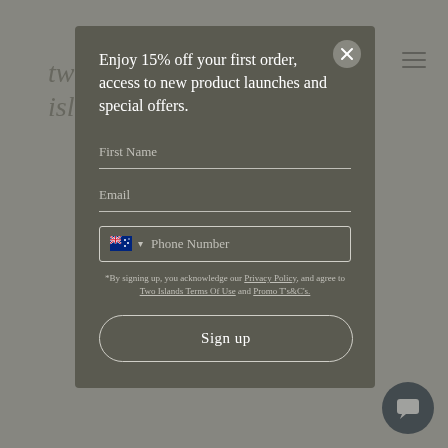[Figure (screenshot): Two Islands brand logo text in italic serif font, partially obscured by modal]
I've ha... years but t... ater, vega... and a dec... s us
[Figure (other): Modal popup with email signup form: title 'Enjoy 15% off your first order, access to new product launches and special offers.', fields for First Name, Email, Phone Number with Australian flag dropdown, disclaimer text, and Sign up button]
[Figure (other): Dark navy circular chat support button in bottom right corner with speech bubble icon]